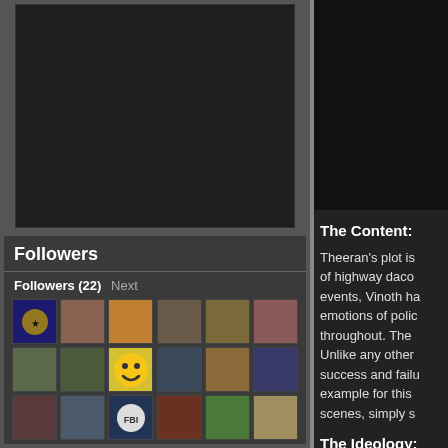[Figure (screenshot): Dark video/image embed area at top of left column]
Followers
Followers (22) Next
[Figure (photo): Grid of 18 follower avatar thumbnails in 3 rows of 6]
The Content:
Theeran's plot is of highway daco events, Vinoth ha emotions of polic throughout. The Unlike any other success and failu example for this scenes, simply s
The Ideology:
Theeran, nowhe were intimidated across India as C original agenda b the detail was les